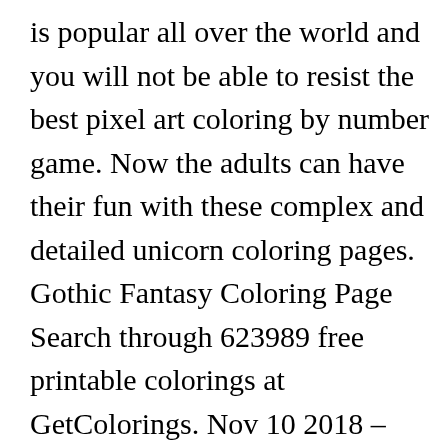is popular all over the world and you will not be able to resist the best pixel art coloring by number game. Now the adults can have their fun with these complex and detailed unicorn coloring pages. Gothic Fantasy Coloring Page Search through 623989 free printable colorings at GetColorings. Nov 10 2018 – Explore Judy Haynes Fausts board coloring. Digital Coloring Book Unicorn Dreams Magical Fantasy Etsy In 2021 Coloring Books Unicorn Coloring Pages Horse Coloring